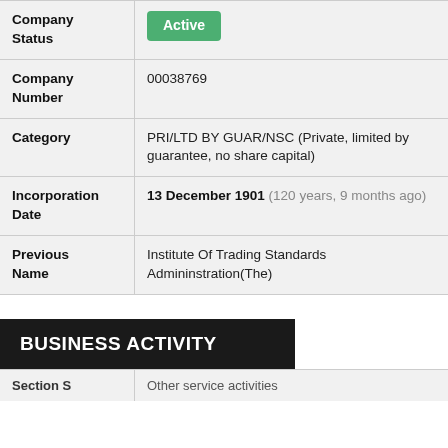| Field | Value |
| --- | --- |
| Company Status | Active |
| Company Number | 00038769 |
| Category | PRI/LTD BY GUAR/NSC (Private, limited by guarantee, no share capital) |
| Incorporation Date | 13 December 1901 (120 years, 9 months ago) |
| Previous Name | Institute Of Trading Standards Admininstration(The) |
BUSINESS ACTIVITY
| Field | Value |
| --- | --- |
| Section S | Other service activities |